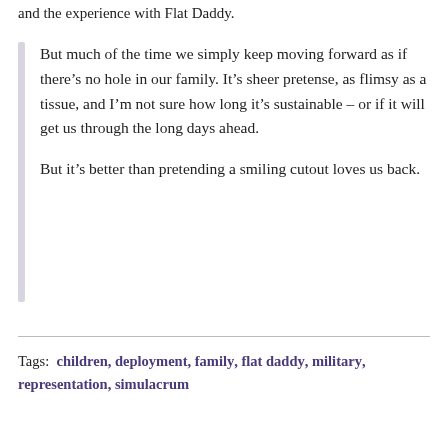and the experience with Flat Daddy.
But much of the time we simply keep moving forward as if there’s no hole in our family. It’s sheer pretense, as flimsy as a tissue, and I’m not sure how long it’s sustainable – or if it will get us through the long days ahead.
But it’s better than pretending a smiling cutout loves us back.
Tags: children, deployment, family, flat daddy, military, representation, simulacrum